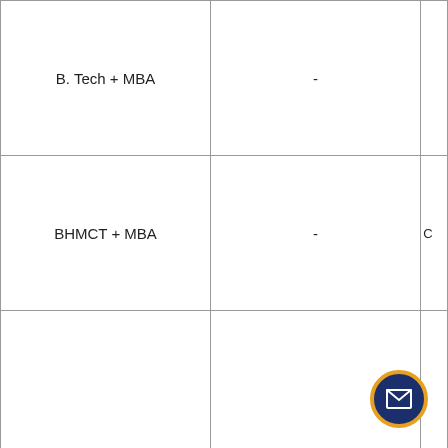| Program | Value | C |
| --- | --- | --- |
| B. Tech + MBA | - |  |
| BHMCT + MBA | - | C |
| BBA.LLB | - |  |